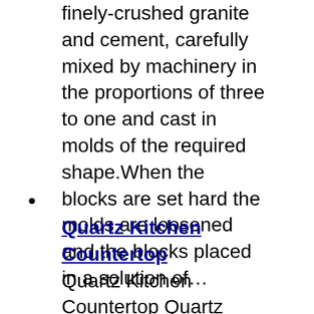finely-crushed granite and cement, carefully mixed by machinery in the proportions of three to one and cast in molds of the required shape.When the blocks are set hard the molds are loosened and the blocks placed in a solution of…
Quartz Kitchen Countertop — Quartz Kitchen Countertop Quartz Stone Countertop the mood is to enjoy, the classic begins with the classic…